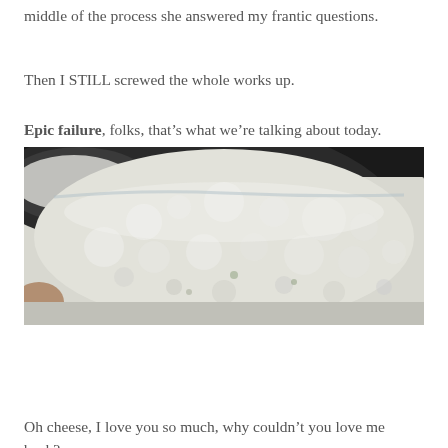middle of the process she answered my frantic questions.
Then I STILL screwed the whole works up.
Epic failure, folks, that’s what we’re talking about today.
[Figure (photo): Close-up photo of white cottage cheese or ricotta curds in a dark round pan, viewed from slightly above. The curds have a lumpy, fluffy texture filling most of the pan.]
Oh cheese, I love you so much, why couldn’t you love me back?